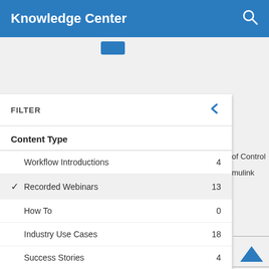Knowledge Center
[Figure (screenshot): Filter panel for Knowledge Center content types showing: Workflow Introductions (4), Recorded Webinars (13, selected with checkmark), How To (0), Industry Use Cases (18), Success Stories (4), Reference Applications (1), Whitepapers (3)]
of Control
mulink